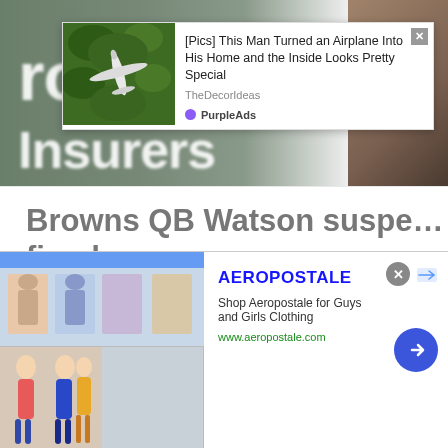[Figure (screenshot): Hero image showing a sign with large blurred white text, person's arm visible on the right, with an overlaid advertisement popup showing an airplane converted to a home]
[Figure (infographic): Advertisement overlay: image of airplane on green foliage background, headline '[Pics] This Man Turned an Airplane Into His Home and the Inside Looks Pretty Special', source 'TheDecorIdeas', branded 'PurpleAds']
Browns QB Watson suspen... fined
[Figure (screenshot): Bottom Aeropostale banner advertisement with clothing images, text 'AEROPOSTALE', 'Shop Aeropostale for Guys and Girls Clothing', 'www.aeropostale.com', blue arrow button]